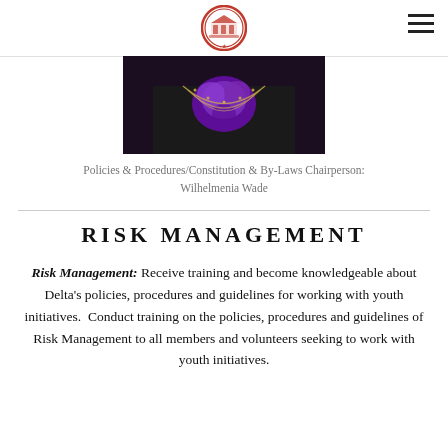[Figure (photo): Close-up photo of a person wearing a black garment with a purple floral accessory and gold beaded necklace/chain.]
Policies & Procedures/Constitution & By-Laws Chairperson: Wilhelmenia Wade
RISK MANAGEMENT
Risk Management: Receive training and become knowledgeable about Delta's policies, procedures and guidelines for working with youth initiatives.  Conduct training on the policies, procedures and guidelines of Risk Management to all members and volunteers seeking to work with youth initiatives.